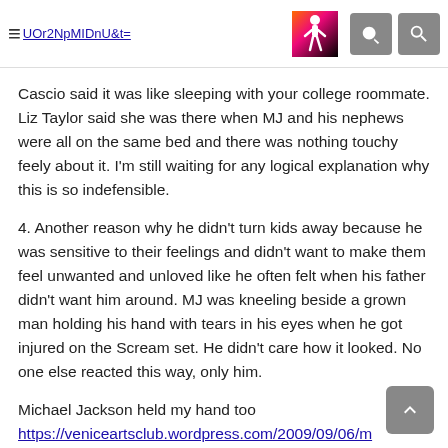https://www.youtube.com/watch?v=UOr2NpMIDnU&t=
Cascio said it was like sleeping with your college roommate. Liz Taylor said she was there when MJ and his nephews were all on the same bed and there was nothing touchy feely about it. I'm still waiting for any logical explanation why this is so indefensible.
4. Another reason why he didn't turn kids away because he was sensitive to their feelings and didn't want to make them feel unwanted and unloved like he often felt when his father didn't want him around. MJ was kneeling beside a grown man holding his hand with tears in his eyes when he got injured on the Scream set. He didn't care how it looked. No one else reacted this way, only him.
Michael Jackson held my hand too
https://veniceartsclub.wordpress.com/2009/09/06/m